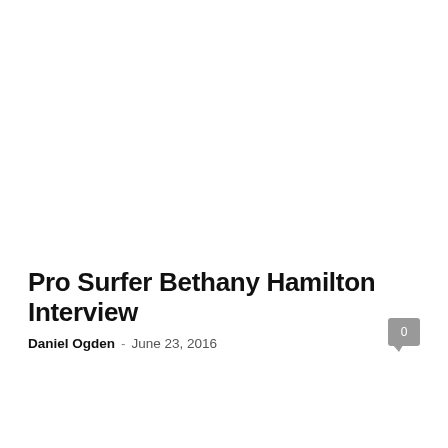Pro Surfer Bethany Hamilton Interview
Daniel Ogden  -  June 23, 2016